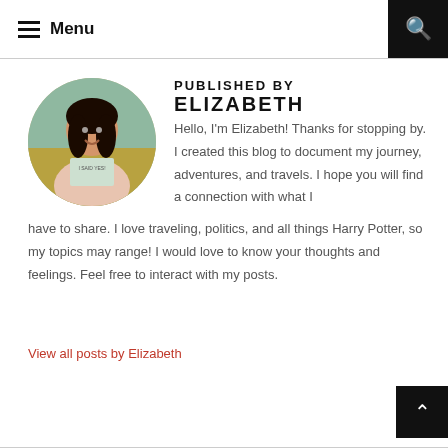Menu
PUBLISHED BY ELIZABETH
[Figure (photo): Circular profile photo of a young woman with dark hair holding a sign that reads 'I SAID YES!' outdoors in a field]
Hello, I'm Elizabeth! Thanks for stopping by. I created this blog to document my journey, adventures, and travels. I hope you will find a connection with what I have to share. I love traveling, politics, and all things Harry Potter, so my topics may range! I would love to know your thoughts and feelings. Feel free to interact with my posts.
View all posts by Elizabeth